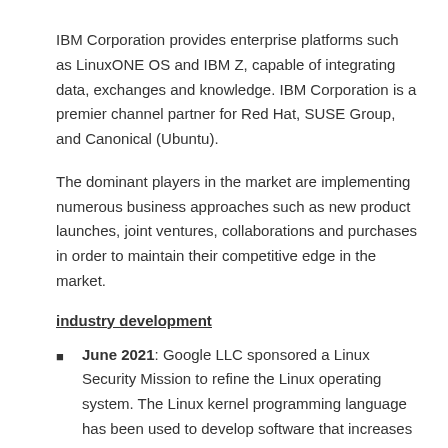IBM Corporation provides enterprise platforms such as LinuxONE OS and IBM Z, capable of integrating data, exchanges and knowledge. IBM Corporation is a premier channel partner for Red Hat, SUSE Group, and Canonical (Ubuntu).
The dominant players in the market are implementing numerous business approaches such as new product launches, joint ventures, collaborations and purchases in order to maintain their competitive edge in the market.
industry development
June 2021: Google LLC sponsored a Linux Security Mission to refine the Linux operating system. The Linux kernel programming language has been used to develop software that increases smartphone security as well as internet connectivity.